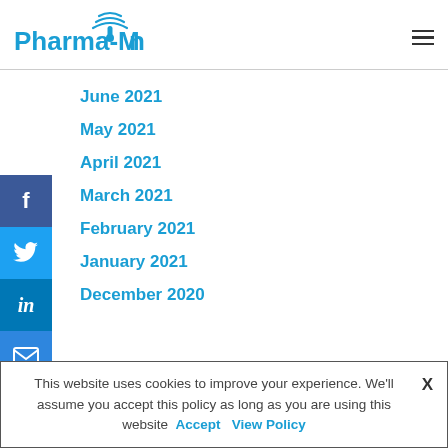Pharma-Mon
June 2021
May 2021
April 2021
March 2021
February 2021
January 2021
December 2020
This website uses cookies to improve your experience. We'll assume you accept this policy as long as you are using this website  Accept  View Policy